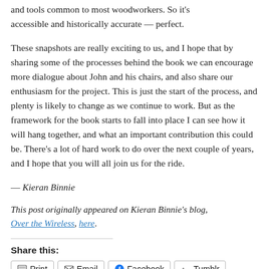and tools common to most woodworkers. So it's accessible and historically accurate — perfect.
These snapshots are really exciting to us, and I hope that by sharing some of the processes behind the book we can encourage more dialogue about John and his chairs, and also share our enthusiasm for the project. This is just the start of the process, and plenty is likely to change as we continue to work. But as the framework for the book starts to fall into place I can see how it will hang together, and what an important contribution this could be. There's a lot of hard work to do over the next couple of years, and I hope that you will all join us for the ride.
— Kieran Binnie
This post originally appeared on Kieran Binnie's blog, Over the Wireless, here.
Share this:
Print  Email  Facebook  Tumblr